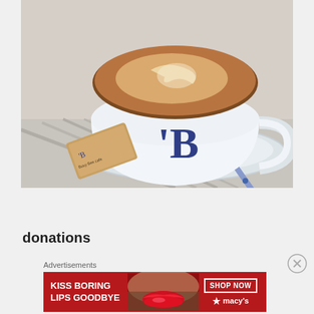[Figure (photo): Close-up photo of a white coffee cup with blue 'B' logo on saucer, with latte art on top, a sugar packet to the left, and a pen on the saucer. Placed on a striped cloth/napkin.]
donations
Advertisements
[Figure (photo): Red Macy's advertisement banner: 'KISS BORING LIPS GOODBYE' with a photo of a woman's face showing red lips, and 'SHOP NOW' button with Macy's star logo on the right.]